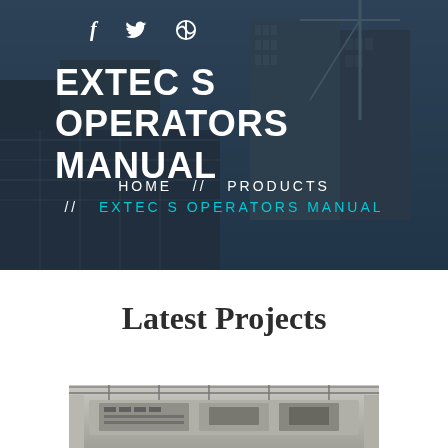[Figure (photo): Dark-toned hero image of construction site with crane and skyscrapers in background, overlaid with dark blue semi-transparent filter]
f  Twitter  Dribbble  [hamburger menu]
EXTEC S OPERATORS MANUAL
HOME  //  PRODUCTS  //  EXTEC S OPERATORS MANUAL
Latest Projects
[Figure (photo): Industrial machinery / screening equipment inside a large facility with metal framework ceiling]